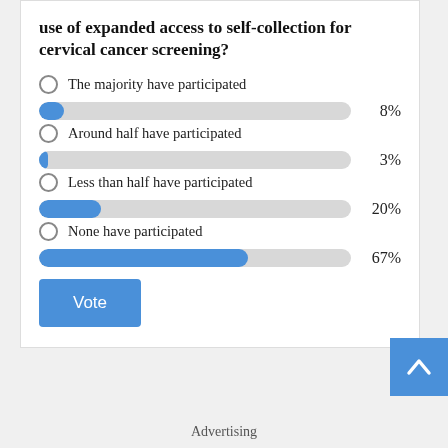use of expanded access to self-collection for cervical cancer screening?
[Figure (bar-chart): Poll: use of expanded access to self-collection for cervical cancer screening?]
Vote
Advertising